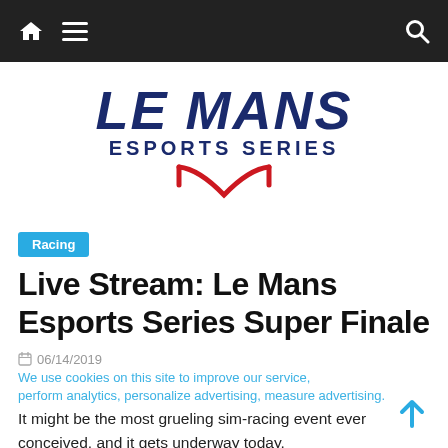Navigation bar with home, menu, and search icons
[Figure (logo): Le Mans Esports Series logo with dark blue bold italic text 'LE MANS' above 'ESPORTS SERIES' and a red curved track/chevron shape below]
Racing
Live Stream: Le Mans Esports Series Super Finale
06/14/2019
We use cookies on this site to improve our service, perform analytics, personalize advertising, measure advertising.
It might be the most grueling sim-racing event ever conceived, and it gets underway today.